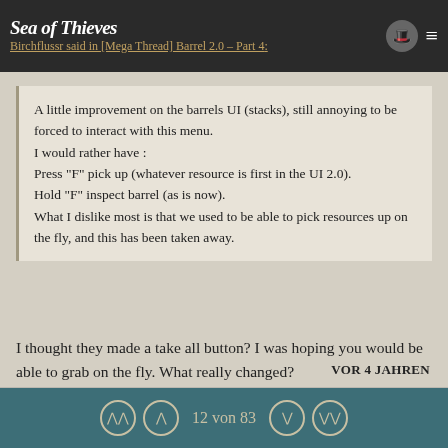Sea of Thieves — [Mega Thread] Barrel 2.0 – Part 4
A little improvement on the barrels UI (stacks), still annoying to be forced to interact with this menu.
I would rather have :
Press "F" pick up (whatever resource is first in the UI 2.0).
Hold "F" inspect barrel (as is now).
What I dislike most is that we used to be able to pick resources up on the fly, and this has been taken away.
I thought they made a take all button? I was hoping you would be able to grab on the fly. What really changed?
VOR 4 JAHREN
12 von 83